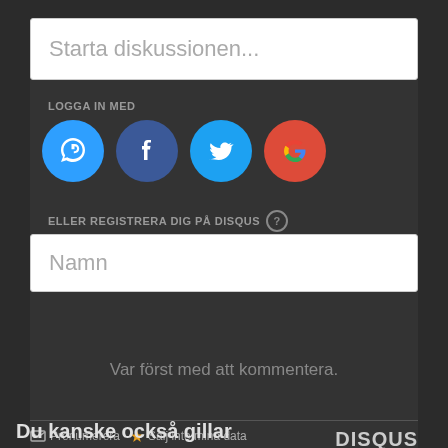Starta diskussionen...
LOGGA IN MED
[Figure (infographic): Social login icons: Disqus (blue chat bubble with D), Facebook (dark blue circle with f), Twitter (light blue circle with bird), Google (red circle with G)]
ELLER REGISTRERA DIG PÅ DISQUS ?
Namn
Var först med att kommentera.
Prenumerera  Sälj inte mina data  DISQUS
Du kanske också gillar